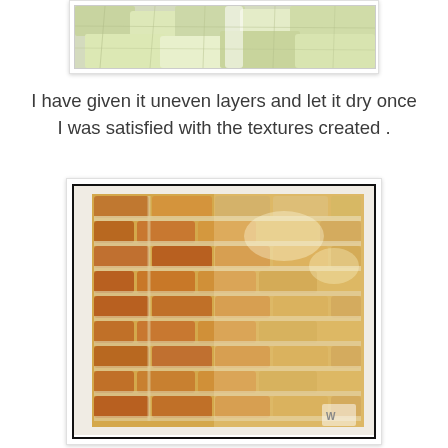[Figure (photo): Close-up of a textured painting surface with uneven, embossed layers in pale yellow-green and white tones showing crackled, stone-like texture.]
I have given it uneven layers and let it dry once I was satisfied with the textures created .
[Figure (photo): A painted artwork on a square canvas showing a brick wall texture with warm golden-yellow and orange-brown tones, featuring detailed brick patterns with mortar lines, some red-orange bricks visible on the left side, lighter weathered appearance toward the right.]